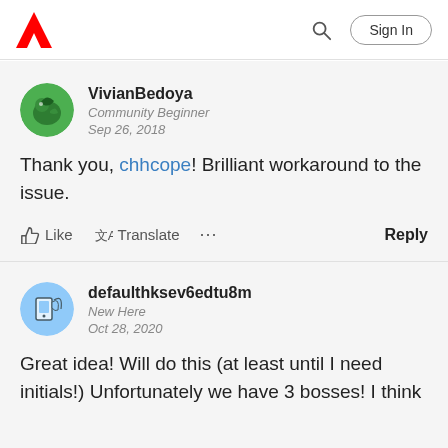Adobe — Sign In
VivianBedoya
Community Beginner
Sep 26, 2018
Thank you, chhcope! Brilliant workaround to the issue.
Like  Translate  ...  Reply
defaulthksev6edtu8m
New Here
Oct 28, 2020
Great idea! Will do this (at least until I need initials!) Unfortunately we have 3 bosses! I think